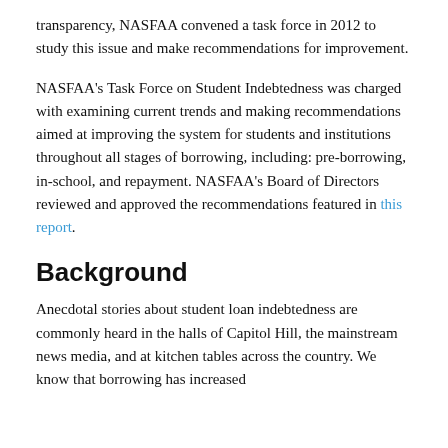transparency, NASFAA convened a task force in 2012 to study this issue and make recommendations for improvement.
NASFAA's Task Force on Student Indebtedness was charged with examining current trends and making recommendations aimed at improving the system for students and institutions throughout all stages of borrowing, including: pre-borrowing, in-school, and repayment. NASFAA's Board of Directors reviewed and approved the recommendations featured in this report.
Background
Anecdotal stories about student loan indebtedness are commonly heard in the halls of Capitol Hill, the mainstream news media, and at kitchen tables across the country. We know that borrowing has increased